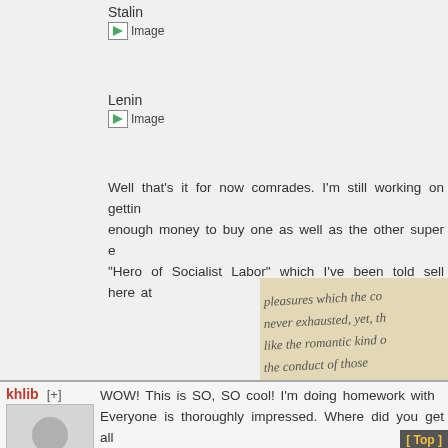Stalin
[Figure (photo): Broken image placeholder labeled 'Image']
Lenin
[Figure (photo): Broken image placeholder labeled 'Image']
Well that's it for now comrades. I'm still working on getting enough money to buy one as well as the other super e "Hero of Socialist Labor" which I've been told sell here at
[Figure (photo): Handwritten cursive text on aged paper, partially visible]
Nationalism is an infantile d
khlib [+]
[Figure (photo): Default grey avatar silhouette]
WOW! This is SO, SO cool! I'm doing homework with Everyone is thoroughly impressed. Where did you get all
[ Top ]